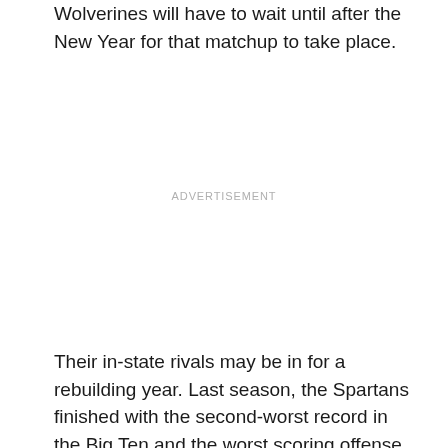Wolverines will have to wait until after the New Year for that matchup to take place.
ADVERTISEMENT
Their in-state rivals may be in for a rebuilding year. Last season, the Spartans finished with the second-worst record in the Big Ten and the worst scoring offense — averaging just